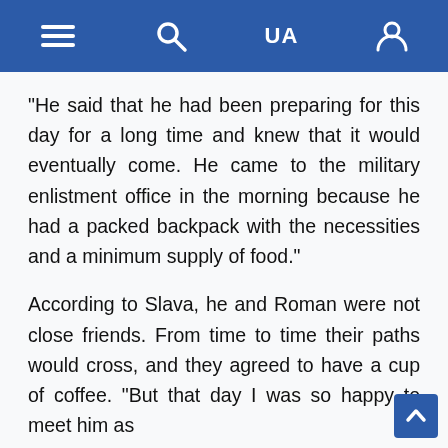≡  🔍  UA  👤
"He said that he had been preparing for this day for a long time and knew that it would eventually come. He came to the military enlistment office in the morning because he had a packed backpack with the necessities and a minimum supply of food."
According to Slava, he and Roman were not close friends. From time to time their paths would cross, and they agreed to have a cup of coffee. "But that day I was so happy to meet him as